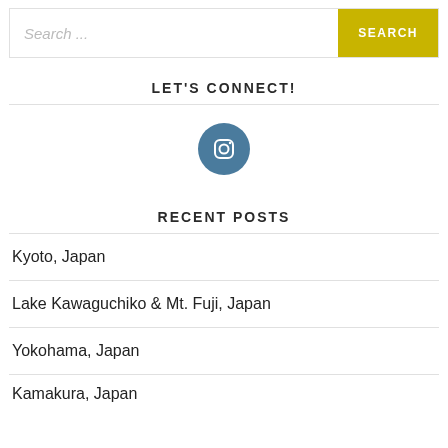Search ...
SEARCH
LET'S CONNECT!
[Figure (illustration): Instagram icon — white camera icon in a dark steel-blue circle]
RECENT POSTS
Kyoto, Japan
Lake Kawaguchiko & Mt. Fuji, Japan
Yokohama, Japan
Kamakura, Japan